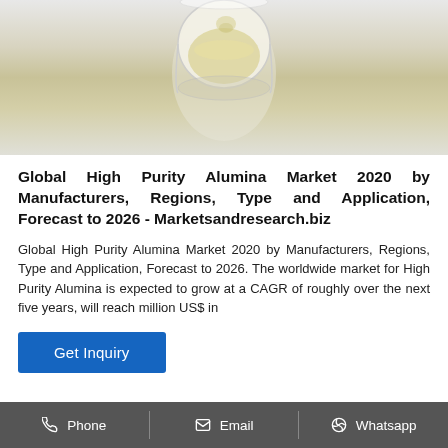[Figure (photo): A glass beaker or round-bottom flask containing a pale yellow liquid, viewed from above against a white background.]
Global High Purity Alumina Market 2020 by Manufacturers, Regions, Type and Application, Forecast to 2026 - Marketsandresearch.biz
Global High Purity Alumina Market 2020 by Manufacturers, Regions, Type and Application, Forecast to 2026. The worldwide market for High Purity Alumina is expected to grow at a CAGR of roughly over the next five years, will reach million US$ in
Get Inquiry
Phone   Email   Whatsapp